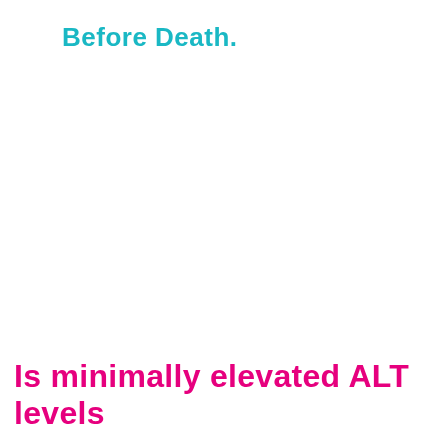Before Death.
Is minimally elevated ALT levels